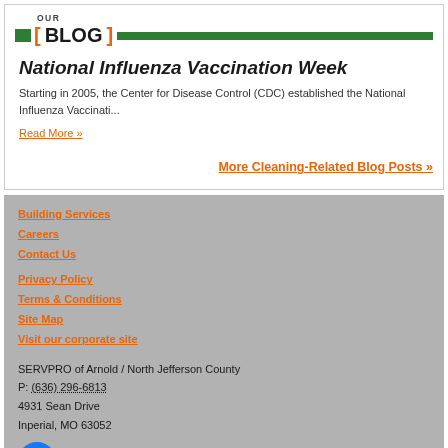OUR BLOG
National Influenza Vaccination Week
Starting in 2005, the Center for Disease Control (CDC) established the National Influenza Vaccinati...
Read More »
More Cleaning-Related Blog Posts »
Building Services
Careers
Contact Us
Privacy Policy
Terms & Conditions
Site Map
Visit our corporate site
SERVPRO of Arnold / North Jefferson County
P: (636) 296-6813
4931 Sean Drive
Inperial, MO 63052
[Figure (logo): Facebook logo - blue circle with white F]